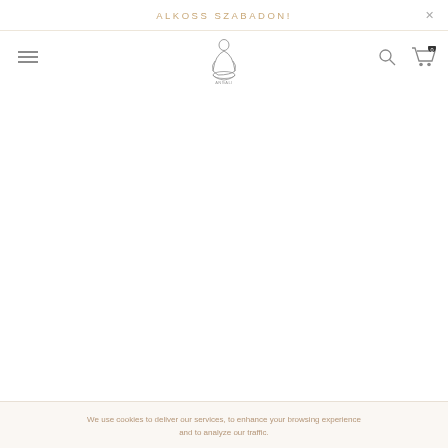ALKOSS SZABADON!
[Figure (logo): Small illustrated logo of a seated figure with text beneath, brand logo for the website]
We use cookies to deliver our services, to enhance your browsing experience and to analyze our traffic.